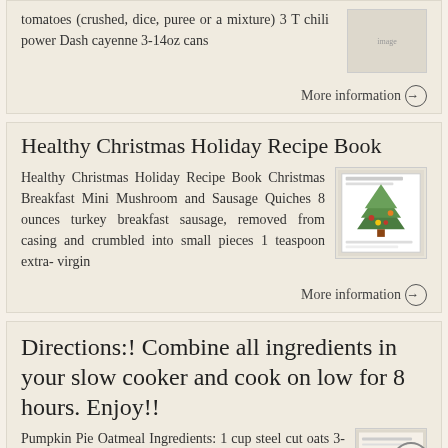tomatoes (crushed, dice, puree or a mixture) 3 T chili power Dash cayenne 3-14oz cans
More information →
Healthy Christmas Holiday Recipe Book
Healthy Christmas Holiday Recipe Book Christmas Breakfast Mini Mushroom and Sausage Quiches 8 ounces turkey breakfast sausage, removed from casing and crumbled into small pieces 1 teaspoon extra- virgin
[Figure (photo): Thumbnail image of Healthy Christmas Holiday Recipe Book cover showing a Christmas tree made of food]
More information →
Directions:! Combine all ingredients in your slow cooker and cook on low for 8 hours. Enjoy!!
Pumpkin Pie Oatmeal Ingredients: 1 cup steel cut oats 3-1/2 cups water (almond or
[Figure (photo): Small thumbnail image of recipe or book listing]